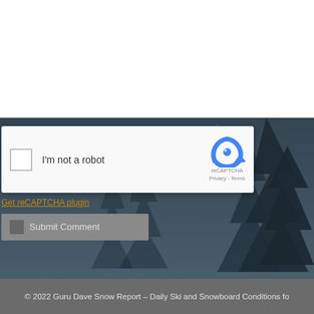[Figure (screenshot): reCAPTCHA widget showing a checkbox labeled 'I'm not a robot' with the reCAPTCHA logo, Privacy and Terms links]
Get reCAPTCHA plugin
Submit Comment
[Figure (photo): Dark snowy forest background with pine tree silhouettes in blue-grey tones]
© 2022 Guru Dave Snow Report – Daily Ski and Snowboard Conditions fo